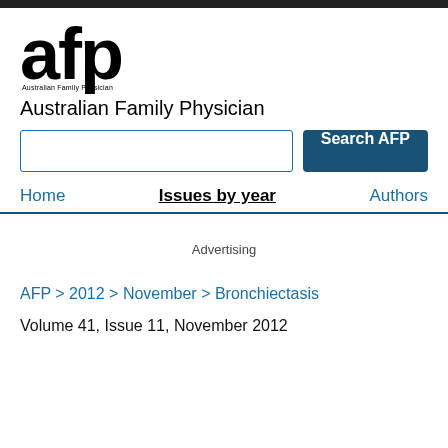[Figure (logo): AFP (Australian Family Physician) journal logo — large bold 'afp' text with small subtitle 'Australian Family Physician' beneath]
Australian Family Physician
Search AFP (search input and button)
Home | Issues by year | Authors
Advertising
AFP > 2012 > November > Bronchiectasis
Volume 41, Issue 11, November 2012